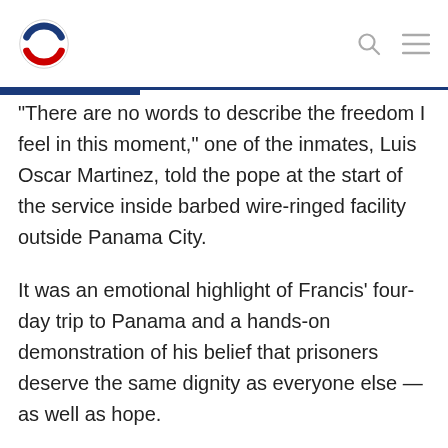NPR logo, search icon, menu icon
"There are no words to describe the freedom I feel in this moment," one of the inmates, Luis Oscar Martinez, told the pope at the start of the service inside barbed wire-ringed facility outside Panama City.
It was an emotional highlight of Francis' four-day trip to Panama and a hands-on demonstration of his belief that prisoners deserve the same dignity as everyone else — as well as hope.